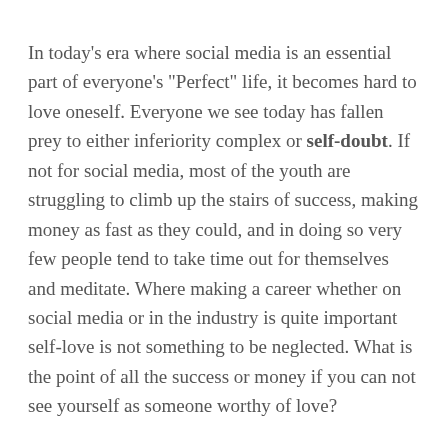In today's era where social media is an essential part of everyone's "Perfect" life, it becomes hard to love oneself. Everyone we see today has fallen prey to either inferiority complex or self-doubt. If not for social media, most of the youth are struggling to climb up the stairs of success, making money as fast as they could, and in doing so very few people tend to take time out for themselves and meditate. Where making a career whether on social media or in the industry is quite important self-love is not something to be neglected. What is the point of all the success or money if you can not see yourself as someone worthy of love?
There can be several ways to express self-love or do something that calms your mind. Remember a calm mind is the ultimate weapon against your challenges.